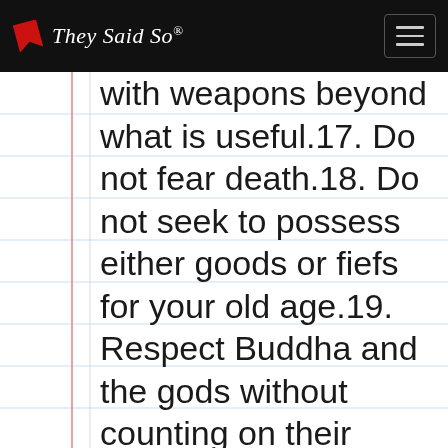They Said So®
with weapons beyond what is useful.17. Do not fear death.18. Do not seek to possess either goods or fiefs for your old age.19. Respect Buddha and the gods without counting on their help.20. You may abandon your own body but you must